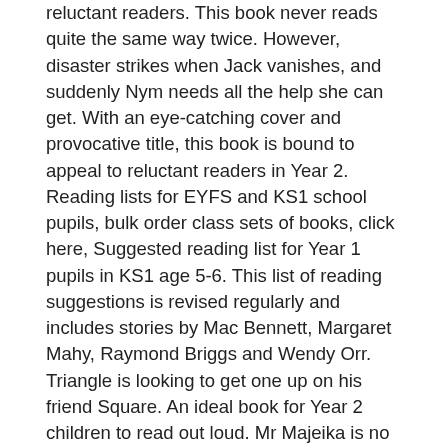reluctant readers. This book never reads quite the same way twice. However, disaster strikes when Jack vanishes, and suddenly Nym needs all the help she can get. With an eye-catching cover and provocative title, this book is bound to appeal to reluctant readers in Year 2. Reading lists for EYFS and KS1 school pupils, bulk order class sets of books, click here, Suggested reading list for Year 1 pupils in KS1 age 5-6. This list of reading suggestions is revised regularly and includes stories by Mac Bennett, Margaret Mahy, Raymond Briggs and Wendy Orr. Triangle is looking to get one up on his friend Square. An ideal book for Year 2 children to read out loud. Mr Majeika is no ordinary teacher. But all is not well – many of the beavers have been imprisoned by the evil Oyin, and only Philip can save them. But Square has other ideas. A very funny story which will appeal to all abilities. Ideal to read and discuss with your child. Sharing on social media or linking to our site's pages is fine. A crazy story about Billy, who wants to own a sweet shop, and the Ladderless...